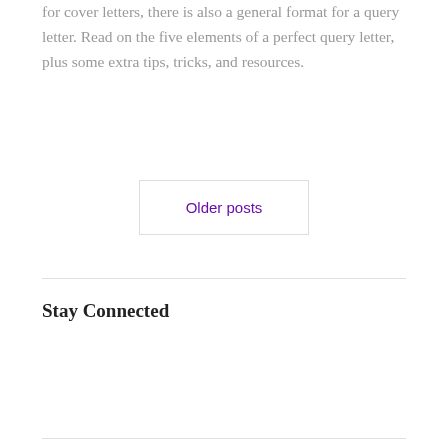for cover letters, there is also a general format for a query letter. Read on the five elements of a perfect query letter, plus some extra tips, tricks, and resources.
Older posts
Stay Connected